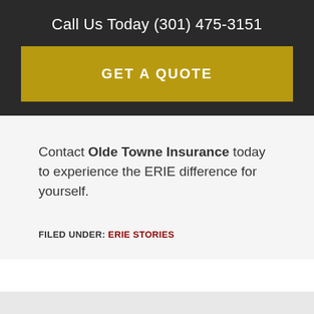Call Us Today (301) 475-3151
GET A QUOTE
Contact Olde Towne Insurance today to experience the ERIE difference for yourself.
FILED UNDER: ERIE STORIES